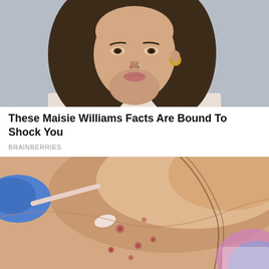[Figure (photo): Photo of a young woman with long brown hair and gold earring, shot against a grey background, cropped to show face and shoulders]
These Maisie Williams Facts Are Bound To Shock You
BRAINBERRIES
[Figure (photo): Medical photo showing a person's back/shoulder area with skin lesions (monkeypox), with a gloved hand holding a cotton swab touching the skin]
What We Know About The Rise In Monkeypox